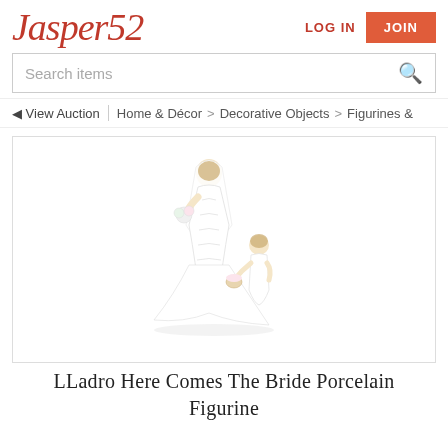Jasper52 — LOG IN | JOIN
Search items
◄ View Auction | Home & Décor > Decorative Objects > Figurines &
[Figure (photo): Lladro porcelain figurine of a bride in a white gown with a veil, accompanied by a small child figure holding the train of her dress.]
LLadro Here Comes The Bride Porcelain Figurine